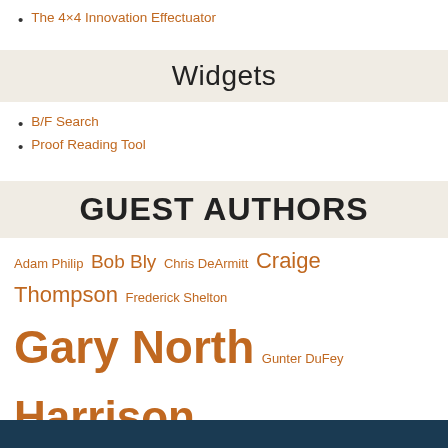The 4×4 Innovation Effectuator
Widgets
B/F Search
Proof Reading Tool
GUEST AUTHORS
Adam Philip Bob Bly Chris DeArmitt Craige Thompson Frederick Shelton Gary North Gunter DuFey Harrison Barnes Jackie Hutter John Rizvi John Russell Perry Marshall Philip Mendes Richard Beem Ron Garrett Sammy Abdullah Scott Adams Scott Wadsworth Stephen Gold Stephen Key Steve Pavlina Steve Weinrieb Sue Bramall Tim Philippi William Childs